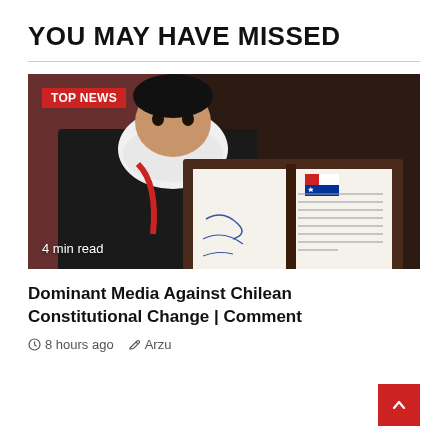YOU MAY HAVE MISSED
[Figure (photo): Person wearing a white N95 mask and dark jacket holding open a leather-bound document folder showing signed official papers with a Chilean flag on one page.]
Dominant Media Against Chilean Constitutional Change | Comment
8 hours ago  Arzu